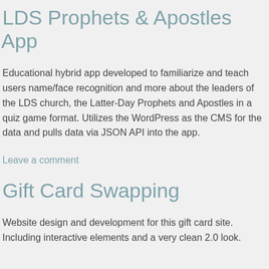LDS Prophets & Apostles App
Educational hybrid app developed to familiarize and teach users name/face recognition and more about the leaders of the LDS church, the Latter-Day Prophets and Apostles in a quiz game format. Utilizes the WordPress as the CMS for the data and pulls data via JSON API into the app.
Leave a comment
Gift Card Swapping
Website design and development for this gift card site. Including interactive elements and a very clean 2.0 look.
Karis Almy